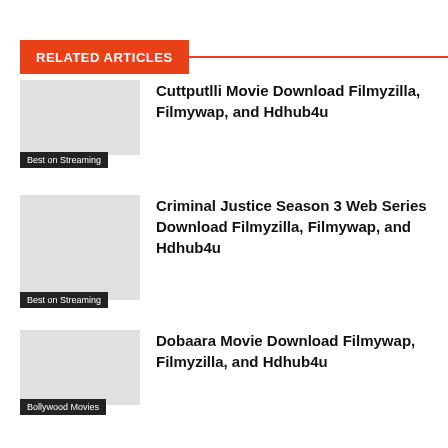RELATED ARTICLES
Cuttputlli Movie Download Filmyzilla, Filmywap, and Hdhub4u
Best on Streaming
Criminal Justice Season 3 Web Series Download Filmyzilla, Filmywap, and Hdhub4u
Best on Streaming
Dobaara Movie Download Filmywap, Filmyzilla, and Hdhub4u
Bollywood Movies